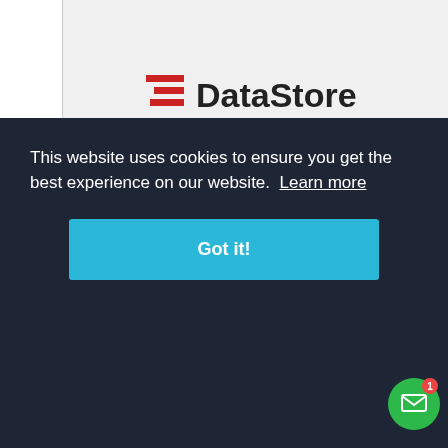[Figure (logo): DataStore company logo: red double-line icon on the left, bold black text 'DataStore' on the right, on a light gray background]
DataStore
Wir bieten Ihnen ein spannendes Portofio an Datacenter-Technologien ? professionelle Partnern ? & innovativen Mitarbeitern ? Jetzt informieren!
Country: Switzerland    City: Zurich
This website uses cookies to ensure you get the best experience on our website.  Learn more
Got it!